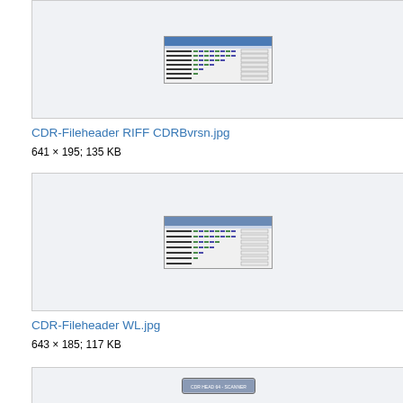[Figure (screenshot): Screenshot of CDR-Fileheader RIFF CDRBvrsn software window showing hex data]
CDR-Fileheader RIFF CDRBvrsn.jpg
641 × 195; 135 KB
[Figure (screenshot): Screenshot of CDR-Fileheader WL software window showing hex data]
CDR-Fileheader WL.jpg
643 × 185; 117 KB
[Figure (screenshot): Small button or bar element at bottom of page]